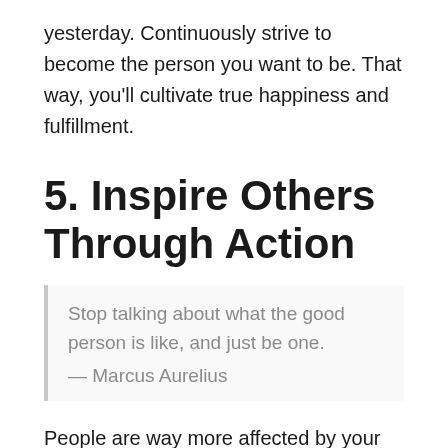yesterday. Continuously strive to become the person you want to be. That way, you'll cultivate true happiness and fulfillment.
5. Inspire Others Through Action
Stop talking about what the good person is like, and just be one.
— Marcus Aurelius
People are way more affected by your actions than your words. What you do speaks so loudly that they can't hear what